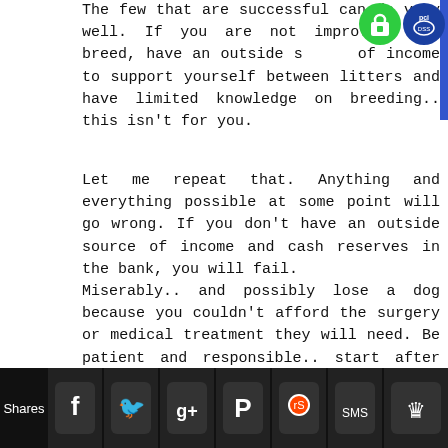The few that are successful can do very well. If you are not improving the breed, have an outside source of income to support yourself between litters and have limited knowledge on breeding.. this isn't for you.
Let me repeat that. Anything and everything possible at some point will go wrong. If you don't have an outside source of income and cash reserves in the bank, you will fail.
Miserably.. and possibly lose a dog because you couldn't afford the surgery or medical treatment they will need. Be patient and responsible.. start after saving.
If you think you're going to be able to sell dogs for $2500-$5000 just because of a big name dog is in your pedigree, you're sadly mistaken. Without a solid reputation in the bully community and a proven track record of honest business, most people won't send
Shares [social share buttons: Facebook, Twitter, Google+, Pinterest, Reddit, SMS, Crown]